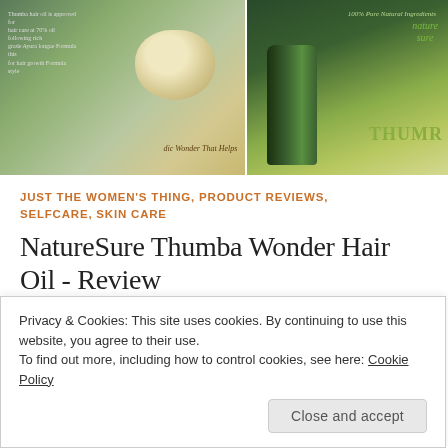[Figure (photo): Two-panel product photo. Left panel shows a bowl with herbs and text about the product. Right panel shows a dark green NatureSure Thumba hair oil bottle with brand labeling.]
JUST THE WOMEN'S THING, PRODUCT REVIEWS, SELFCARE, SKIN CARE
NatureSure Thumba Wonder Hair Oil - Review
May 22, 2020   Rakhi Jayashankar
Thumba oil is a traditional ayurvedic medicine that is used for hair growth. Studies prove that it has been helpful in stimulating the hair follicles. Thumba is not
Privacy & Cookies: This site uses cookies. By continuing to use this website, you agree to their use.
To find out more, including how to control cookies, see here: Cookie Policy
Close and accept